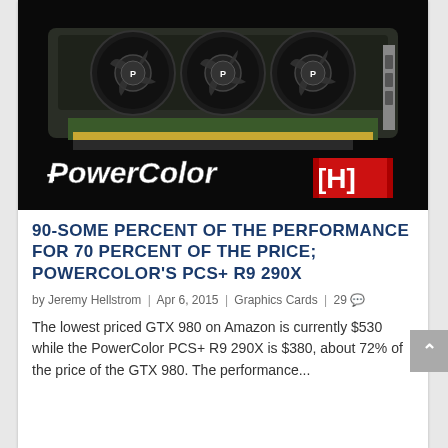[Figure (photo): PowerColor graphics card (GPU) with triple fans on a black background with the PowerColor logo and [H] logo at the bottom]
90-SOME PERCENT OF THE PERFORMANCE FOR 70 PERCENT OF THE PRICE; POWERCOLOR'S PCS+ R9 290X
by Jeremy Hellstrom | Apr 6, 2015 | Graphics Cards | 29
The lowest priced GTX 980 on Amazon is currently $530 while the PowerColor PCS+ R9 290X is $380, about 72% of the price of the GTX 980. The performance...